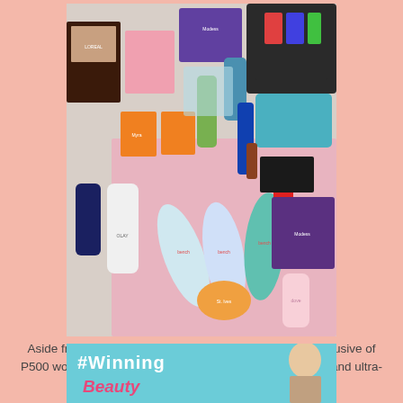[Figure (photo): A collection of various personal care and beauty products spread out on a pink surface, including hair dye boxes, lotions, bottles, makeup items, and a toiletry bag with nail polishes.]
Aside from that, if your total purchase is worth P1500 inclusive of P500 worth of Personal Care products, you will get a free and ultra-sleek beauty pouch.
[Figure (photo): A banner with a light blue background showing '#Winning Beauty' text with a person partially visible on the right side.]